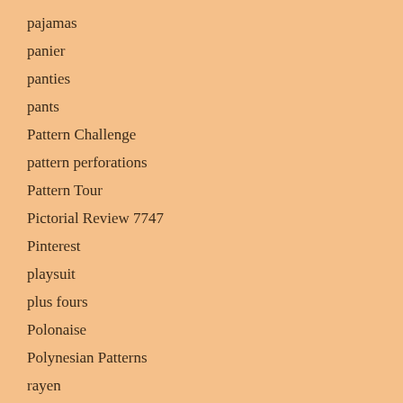pajamas
panier
panties
pants
Pattern Challenge
pattern perforations
Pattern Tour
Pictorial Review 7747
Pinterest
playsuit
plus fours
Polonaise
Polynesian Patterns
rayen